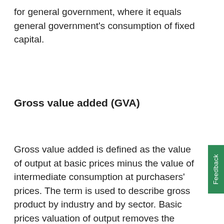for general government, where it equals general government's consumption of fixed capital.
Gross value added (GVA)
Gross value added is defined as the value of output at basic prices minus the value of intermediate consumption at purchasers' prices. The term is used to describe gross product by industry and by sector. Basic prices valuation of output removes the distortion caused by variations in the incidence of commodity taxes and subsidies across the output of individual industries.